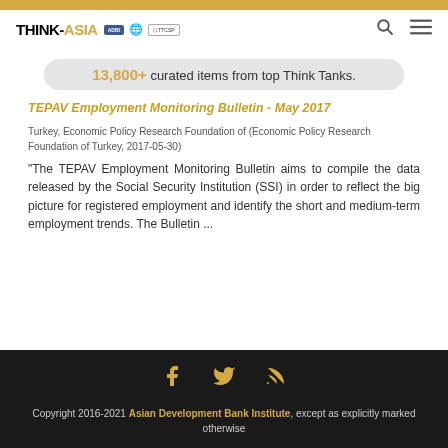THINK-ASIA | ADBI | TTCSP
13,800+ curated items from top Think Tanks.
TEPAV Employment Monitoring Bulletin - May 2017
Turkey, Economic Policy Research Foundation of (Economic Policy Research Foundation of Turkey, 2017-05-30)
"The TEPAV Employment Monitoring Bulletin aims to compile the data released by the Social Security Institution (SSI) in order to reflect the big picture for registered employment and identify the short and medium-term employment trends. The Bulletin ...
Copyright 2016-2021 Asian Development Bank Institute, except as explicitly marked otherwise